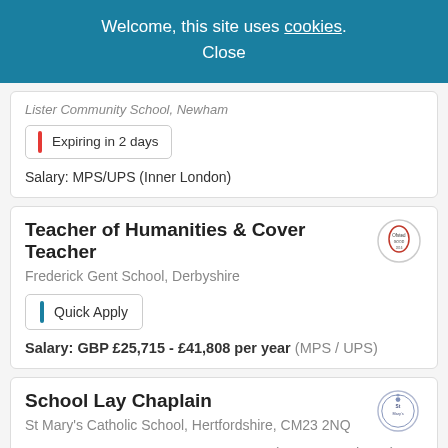Welcome, this site uses cookies. Close
Lister Community School, Newham
Expiring in 2 days
Salary: MPS/UPS (Inner London)
Teacher of Humanities & Cover Teacher
Frederick Gent School, Derbyshire
Quick Apply
Salary: GBP £25,715 - £41,808 per year (MPS / UPS)
School Lay Chaplain
St Mary's Catholic School, Hertfordshire, CM23 2NQ
Salary: GBP £21,366 - £23,215 pro rata (H7:19-23 Fringe (FTE £25,927 - £28,226 + £637) (Pro Rata £21,366 - £23,215).)